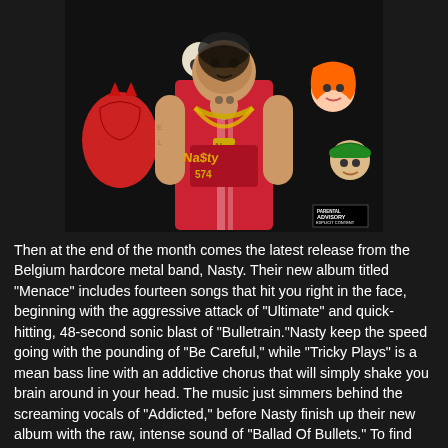[Figure (illustration): Album cover for 'Menace' by Belgium hardcore metal band Nasty. Shows a heavily tattooed man in a red jersey with gold chain necklace spelling out 'Nasty', surrounded by various illustrated characters including a red devil, skeleton, and other cartoon-style figures. Parental Advisory Explicit Content label visible in bottom right corner.]
Then at the end of the month comes the latest release from the Belgium hardcore metal band, Nasty. Their new album titled "Menace" includes fourteen songs that hit you right in the face, beginning with the aggressive attack of "Ultimate" and quick-hitting, 48-second sonic blast of "Bulletrain."Nasty keep the speed going with the pounding of "Be Careful," while "Tricky Plays" is a mean bass line with an addictive chorus that will simply shake you brain around in your head. The music just simmers behind the screaming vocals of "Addicted," before Nasty finish up their new album with the raw, intense sound of "Ballad Of Bullets." To find out more about Nasty and their latest release "Menace," please visit facebook.com/getnasty.